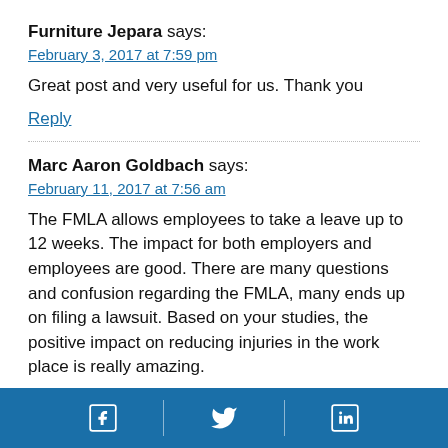Furniture Jepara says:
February 3, 2017 at 7:59 pm
Great post and very useful for us. Thank you
Reply
Marc Aaron Goldbach says:
February 11, 2017 at 7:56 am
The FMLA allows employees to take a leave up to 12 weeks. The impact for both employers and employees are good. There are many questions and confusion regarding the FMLA, many ends up on filing a lawsuit. Based on your studies, the positive impact on reducing injuries in the work place is really amazing.
Social media icons: Facebook, Twitter, LinkedIn